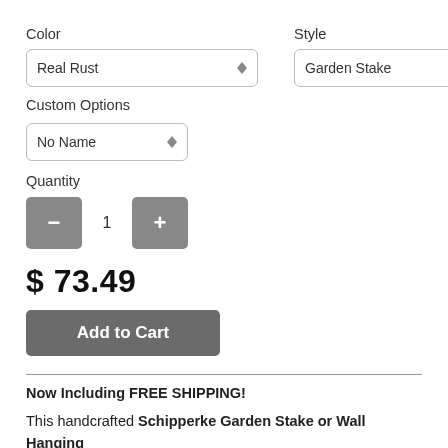Color
[Figure (screenshot): Dropdown selector showing 'Real Rust']
Style
[Figure (screenshot): Dropdown selector showing 'Garden Stake']
Custom Options
[Figure (screenshot): Dropdown selector showing 'No Name']
Quantity
[Figure (screenshot): Quantity control with minus button, value 1, and plus button]
$ 73.49
[Figure (screenshot): Add to Cart button]
Now Including FREE SHIPPING!
This handcrafted Schipperke Garden Stake or Wall Hanging